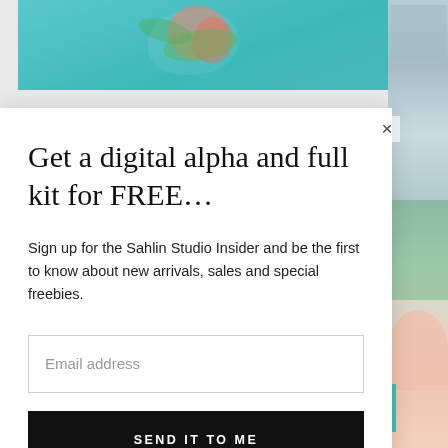[Figure (photo): Teal/tropical background with scrapbooking imagery visible behind the modal popup]
Get a digital alpha and full kit for FREE…
Sign up for the Sahlin Studio Insider and be the first to know about new arrivals, sales and special freebies.
Email address
SEND IT TO ME